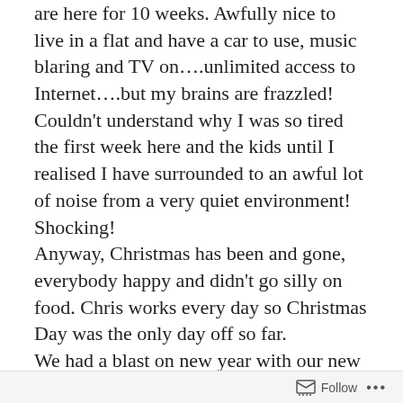are here for 10 weeks. Awfully nice to live in a flat and have a car to use, music blaring and TV on....unlimited access to Internet....but my brains are frazzled! Couldn't understand why I was so tired the first week here and the kids until I realised I have surrounded to an awful lot of noise from a very quiet environment! Shocking!
Anyway, Christmas has been and gone, everybody happy and didn't go silly on food. Chris works every day so Christmas Day was the only day off so far.
We had a blast on new year with our new found friend and daughter who also happens to rent half of their house out, so we moved out from a very expensive ocean village condo to her place. Cheaper rent and much more fun for the kids.

So, let's track back, about Charlie's passport. The whole
Follow